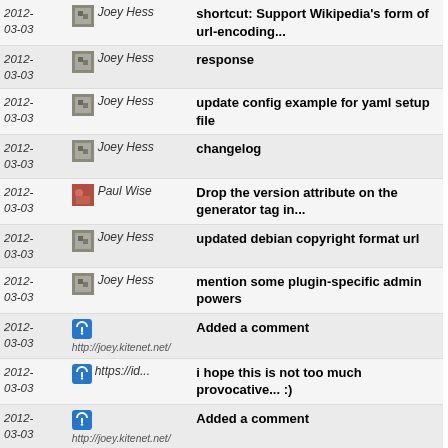| Date | User | Message |
| --- | --- | --- |
| 2012-03-03 | Joey Hess | shortcut: Support Wikipedia's form of url-encoding... |
| 2012-03-03 | Joey Hess | response |
| 2012-03-03 | Joey Hess | update config example for yaml setup file |
| 2012-03-03 | Joey Hess | changelog |
| 2012-03-03 | Paul Wise | Drop the version attribute on the generator tag in... |
| 2012-03-03 | Joey Hess | updated debian copyright format url |
| 2012-03-03 | Joey Hess | mention some plugin-specific admin powers |
| 2012-03-03 | http://joey.kitenet.net/ | Added a comment |
| 2012-03-03 | https://id... | i hope this is not too much provocative... :) |
| 2012-03-03 | http://joey.kitenet.net/ | Added a comment |